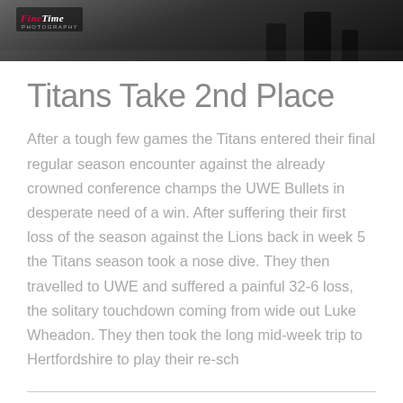[Figure (photo): Grayscale header photo of football players on a field, with 'FineTime Photography' logo in top left corner.]
Titans Take 2nd Place
After a tough few games the Titans entered their final regular season encounter against the already crowned conference champs the UWE Bullets in desperate need of a win. After suffering their first loss of the season against the Lions back in week 5 the Titans season took a nose dive. They then travelled to UWE and suffered a painful 32-6 loss, the solitary touchdown coming from wide out Luke Wheadon. They then took the long mid-week trip to Hertfordshire to play their re-sch